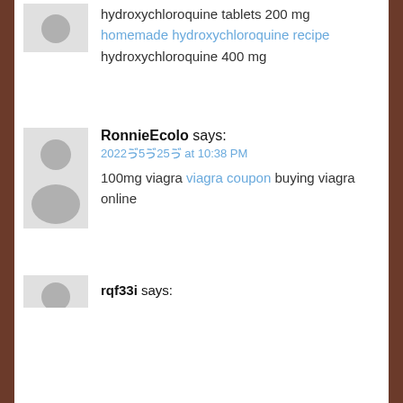[Figure (illustration): Gray placeholder avatar icon (top, partial, cropped at top)]
hydroxychloroquine tablets 200 mg homemade hydroxychloroquine recipe hydroxychloroquine 400 mg
[Figure (illustration): Gray placeholder avatar icon for RonnieEcolo comment]
RonnieEcolo says:
2022ゔ5ゔ25ゔ at 10:38 PM
100mg viagra viagra coupon buying viagra online
[Figure (illustration): Gray placeholder avatar icon (bottom, partial)]
rqf33i says: